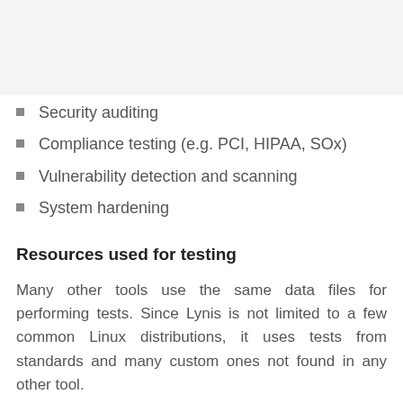Security auditing
Compliance testing (e.g. PCI, HIPAA, SOx)
Vulnerability detection and scanning
System hardening
Resources used for testing
Many other tools use the same data files for performing tests. Since Lynis is not limited to a few common Linux distributions, it uses tests from standards and many custom ones not found in any other tool.
Best practices